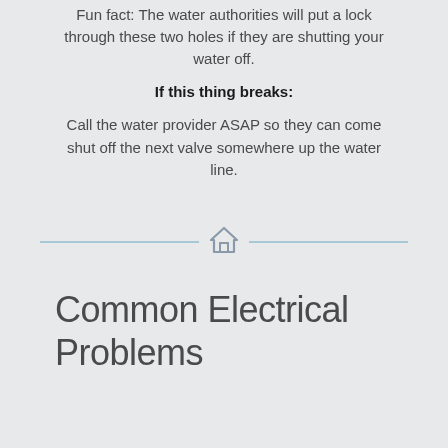Fun fact: The water authorities will put a lock through these two holes if they are shutting your water off.
If this thing breaks:
Call the water provider ASAP so they can come shut off the next valve somewhere up the water line.
[Figure (illustration): A horizontal divider with a house icon in the center, flanked by light blue lines on each side.]
Common Electrical Problems